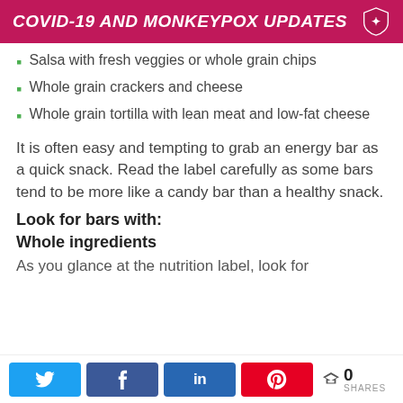COVID-19 AND MONKEYPOX UPDATES
Salsa with fresh veggies or whole grain chips
Whole grain crackers and cheese
Whole grain tortilla with lean meat and low-fat cheese
It is often easy and tempting to grab an energy bar as a quick snack. Read the label carefully as some bars tend to be more like a candy bar than a healthy snack.
Look for bars with:
Whole ingredients
As you glance at the nutrition label, look for
0 SHARES